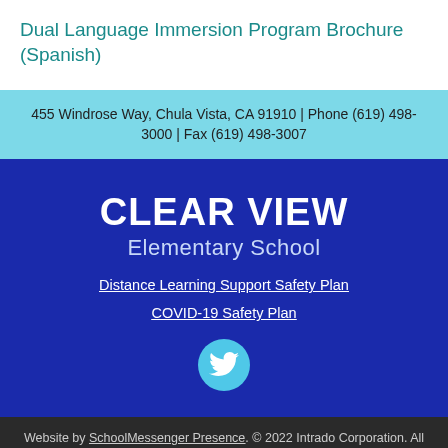Dual Language Immersion Program Brochure (Spanish)
455 Windrose Way, Chula Vista, CA 91910 | Phone (619) 498-3000 | Fax (619) 498-3007
CLEAR VIEW Elementary School
Distance Learning Support Safety Plan
COVID-19 Safety Plan
[Figure (logo): Twitter bird logo icon in a cyan circle]
Website by SchoolMessenger Presence. © 2022 Intrado Corporation. All rights reserved.